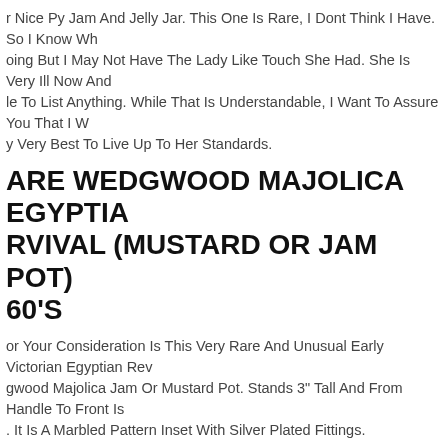r Nice Py Jam And Jelly Jar. This One Is Rare, I Dont Think I Have. So I Know Wh oing But I May Not Have The Lady Like Touch She Had. She Is Very Ill Now And le To List Anything. While That Is Understandable, I Want To Assure You That I W y Very Best To Live Up To Her Standards.
ARE WEDGWOOD MAJOLICA EGYPTIAN REVIVAL (MUSTARD OR JAM POT) 60'S
or Your Consideration Is This Very Rare And Unusual Early Victorian Egyptian Rev gwood Majolica Jam Or Mustard Pot. Stands 3" Tall And From Handle To Front Is . It Is A Marbled Pattern Inset With Silver Plated Fittings.
ue 13 1/2 Primitive Country Kitchen Glass Pickle Keg Barrel Hoosier Art Jar. , cticut Estate Fresh! It Still Has Part Of Its Original Pickled Pigs Feet Advertising er Label On It As Shown. It Is Quite Large, Solid, Thick, Strong, And Well Made! It Age To It!
EW 5-STAR LUXURY HOTEL RITZ PAR LEAR CRYSTAL JAM CONDIMENT JAR